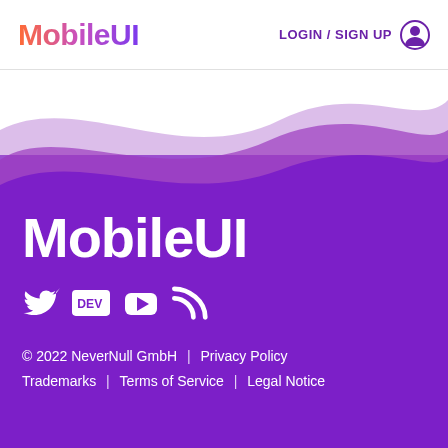MobileUI   LOGIN / SIGN UP
[Figure (illustration): Purple wave graphic transitioning from white at top to purple at bottom, with a lighter purple wave layer in between]
MobileUI
[Figure (illustration): Social media icons: Twitter bird, DEV badge, YouTube play button, RSS/podcast icon — all white on purple background]
© 2022 NeverNull GmbH  |  Privacy Policy  Trademarks  |  Terms of Service  |  Legal Notice